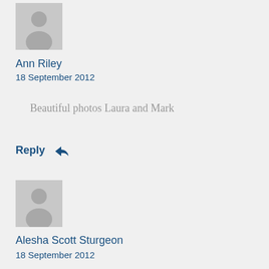[Figure (illustration): Gray default avatar placeholder with a person silhouette icon]
Ann Riley
18 September 2012
Beautiful photos Laura and Mark
Reply ↩
[Figure (illustration): Gray default avatar placeholder with a person silhouette icon]
Alesha Scott Sturgeon
18 September 2012